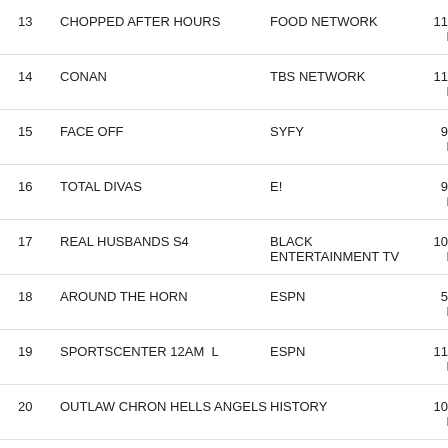| # | Show | Network | Time |
| --- | --- | --- | --- |
| 13 | CHOPPED AFTER HOURS | FOOD NETWORK | 11:00 PM |
| 14 | CONAN | TBS NETWORK | 11:00 PM |
| 15 | FACE OFF | SYFY | 9:00 PM |
| 16 | TOTAL DIVAS | E! | 9:00 PM |
| 17 | REAL HUSBANDS S4 | BLACK ENTERTAINMENT TV | 10:00 PM |
| 18 | AROUND THE HORN | ESPN | 5:00 PM |
| 19 | SPORTSCENTER 12AM  L | ESPN | 11:57 PM |
| 20 | OUTLAW CHRON HELLS ANGELS | HISTORY | 10:02 PM |
| 21 | SPORTSCENTER EARLY    L | ESPN | 6:00 PM |
| 22 | PUNKD | BLACK ENTERTAINMENT TV | 10:30 PM |
| 23 | HOMICIDE HUNTER LT JOE KE | INVESTIGATION DISCOVERY | 10:00 PM |